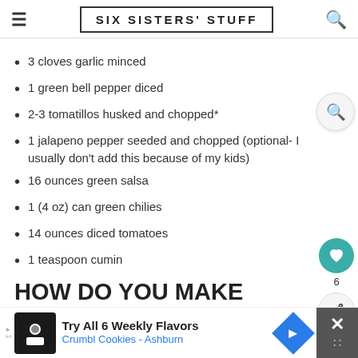SIX SISTERS' STUFF
3 cloves garlic minced
1 green bell pepper diced
2-3 tomatillos husked and chopped*
1 jalapeno pepper seeded and chopped (optional- I usually don't add this because of my kids)
16 ounces green salsa
1 (4 oz) can green chilies
14 ounces diced tomatoes
1 teaspoon cumin
HOW DO YOU MAKE SLOW COOKER PORK CHILE
Try All 6 Weekly Flavors Crumbl Cookies - Ashburn